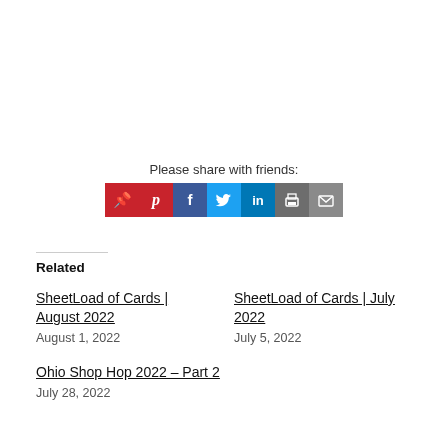Please share with friends:
[Figure (infographic): Social share buttons: Pinterest (red), Facebook (blue), Twitter (light blue), LinkedIn (dark blue), Print (dark grey), Email (grey)]
Related
SheetLoad of Cards | August 2022
August 1, 2022
SheetLoad of Cards | July 2022
July 5, 2022
Ohio Shop Hop 2022 – Part 2
July 28, 2022